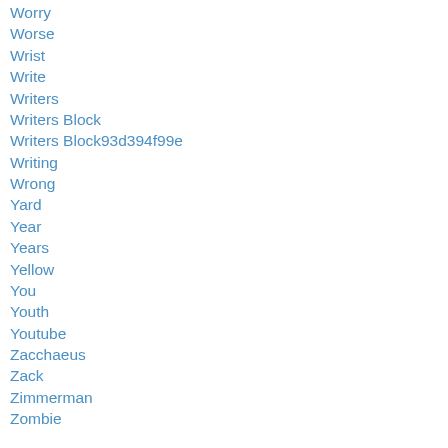Worry
Worse
Wrist
Write
Writers
Writers Block
Writers Block93d394f99e
Writing
Wrong
Yard
Year
Years
Yellow
You
Youth
Youtube
Zacchaeus
Zack
Zimmerman
Zombie